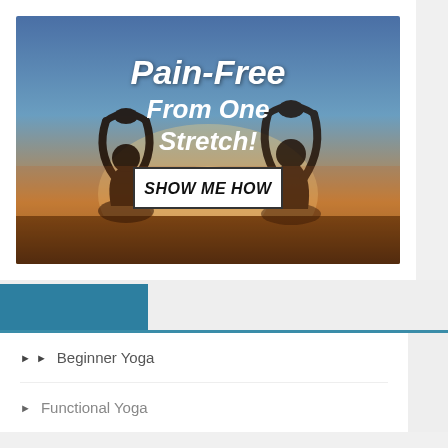[Figure (illustration): Advertisement banner showing two silhouetted people in yoga meditation pose against a sunset sky background. Text overlay reads 'Pain-Free From One Stretch!' with a 'SHOW ME HOW' button.]
▶ ▶ Beginner Yoga
▶ Functional Yoga